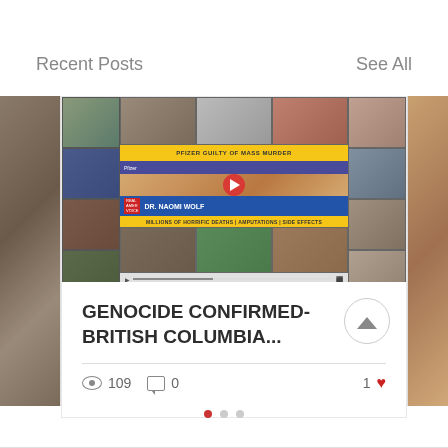Recent Posts
See All
[Figure (screenshot): Video thumbnail showing a collage of images with yellow banner reading 'PFIZER GUILTY OF MASS MURDER', a woman (DR. NAOMI WOLF) in center with a red play button, and text 'MILLIONS OF HORRIFIC DEATHS | AMPUTATIONS | SIDE EFFECTS']
GENOCIDE CONFIRMED- BRITISH COLUMBIA...
109  0  1